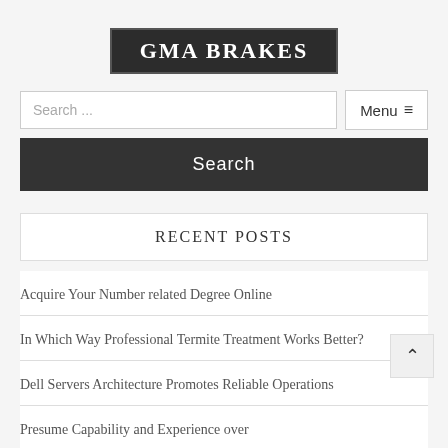GMA BRAKES
Search ...
Menu ≡
Search
RECENT POSTS
Acquire Your Number related Degree Online
In Which Way Professional Termite Treatment Works Better?
Dell Servers Architecture Promotes Reliable Operations
Presume Capability and Experience over